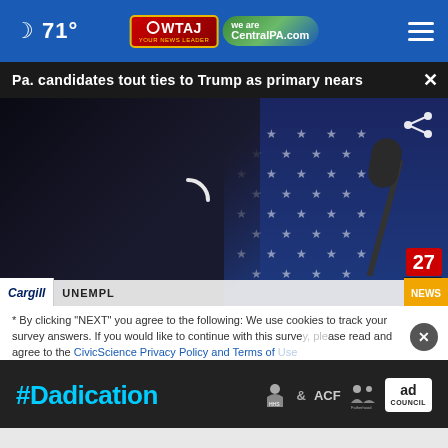🌙 71° | WTAJ / CentralPA.com
Pa. candidates tout ties to Trump as primary nears
[Figure (photo): Video player showing a man in a dark suit gesturing with one hand raised, at a podium with microphones, with an American flag with stars in the background. A loading spinner overlay is visible. Channel 27 badge shown at bottom right. Cargill and UNEMPL/NEWS ticker at the bottom.]
* By clicking "NEXT" you agree to the following: We use cookies to track your survey answers. If you would like to continue with this survey, please read and agree to the CivicScience Privacy Policy and Terms of Use
[Figure (infographic): #Dadication ad banner with HHS, ACF, National Responsible Fatherhood Clearinghouse, and Ad Council logos]